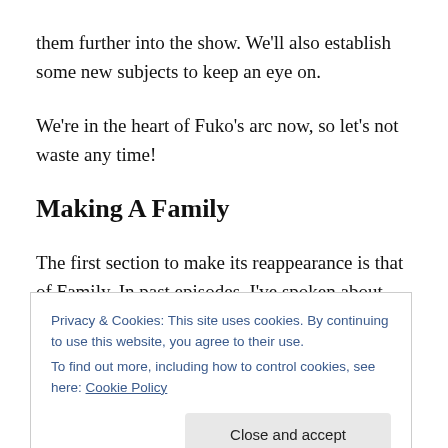them further into the show. We'll also establish some new subjects to keep an eye on.
We're in the heart of Fuko's arc now, so let's not waste any time!
Making A Family
The first section to make its reappearance is that of Family. In past episodes, I've spoken about Nagisa gathering club members in order to build a sort of family (a
Privacy & Cookies: This site uses cookies. By continuing to use this website, you agree to their use.
To find out more, including how to control cookies, see here: Cookie Policy
Close and accept